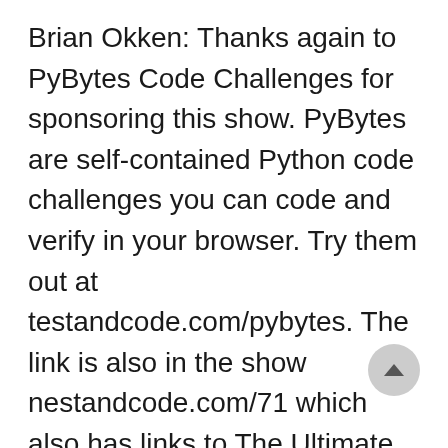Brian Okken: Thanks again to PyBytes Code Challenges for sponsoring this show. PyBytes are self-contained Python code challenges you can code and verify in your browser. Try them out at testandcode.com/pybytes. The link is also in the show nestandcode.com/71 which also has links to The Ultimate Guide to Memorable Tech Talks and other stuff Nina and I talked about. Thanks to Nina for talking with me for the show. Thank you for listening, and for spreading the word about the show. And thank you to Patreon supporters, it's you more than anyone else who keep me doing thi… That's all for now, now go out and test something, or maybe start an outline for your next or first tech tack, that would be cool.